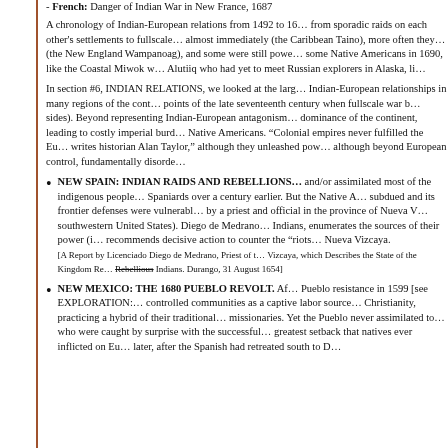- French: Danger of Indian War in New France, 1687
A chronology of Indian-European relations from 1492 to 16... from sporadic raids on each other's settlements to fullscale... almost immediately (the Caribbean Taino), more often they... (the New England Wampanoag), and some were still powe... some Native Americans in 1690, like the Coastal Miwok w... Alutiiq who had yet to meet Russian explorers in Alaska, li...
In section #6, INDIAN RELATIONS, we looked at the larg... Indian-European relationships in many regions of the cont... points of the late seventeenth century when fullscale war b... sides). Beyond representing Indian-European antagonism... dominance of the continent, leading to costly imperial burd... Native Americans. "Colonial empires never fulfilled the Eu... writes historian Alan Taylor," although they unleashed pow... although beyond European control, fundamentally disorde...
NEW SPAIN: INDIAN RAIDS AND REBELLIONS... and/or assimilated most of the indigenous people... Spaniards over a century earlier. But the Native A... subdued and its frontier defenses were vulnerabl... by a priest and official in the province of Nueva V... southwestern United States). Diego de Medrano... Indians, enumerates the sources of their power (i... recommends decisive action to counter the "riots... Nueva Vizcaya.
[A Report by Licenciado Diego de Medrano, Priest of t... Vizcaya, which Describes the State of the Kingdom Re... Rebellious Indians. Durango, 31 August 1654]
NEW MEXICO: THE 1680 PUEBLO REVOLT. Af... Pueblo resistance in 1599 [see EXPLORATION: ... controlled communities as a captive labor source... Christianity, practicing a hybrid of their traditional... missionaries. Yet the Pueblo never assimilated to... who were caught by surprise with the successful... greatest setback that natives ever inflicted on Eu... later, after the Spanish had retreated south to D...